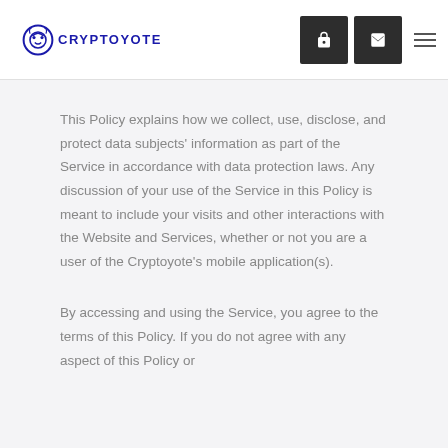CRYPTOYOTE
This Policy explains how we collect, use, disclose, and protect data subjects' information as part of the Service in accordance with data protection laws. Any discussion of your use of the Service in this Policy is meant to include your visits and other interactions with the Website and Services, whether or not you are a user of the Cryptoyote's mobile application(s).
By accessing and using the Service, you agree to the terms of this Policy. If you do not agree with any aspect of this Policy or